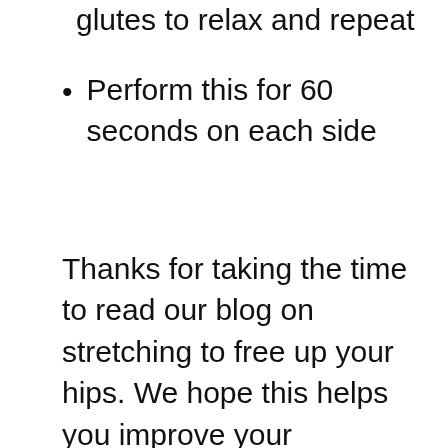glutes to relax and repeat
Perform this for 60 seconds on each side
Thanks for taking the time to read our blog on stretching to free up your hips. We hope this helps you improve your movement. Finally a reminder that the training and instructional content contained on this website should be taken as informational and